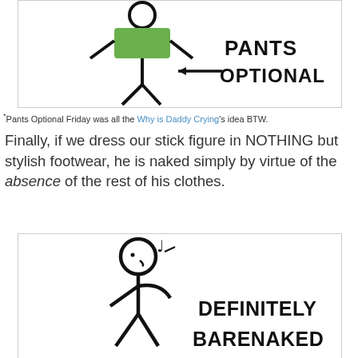[Figure (illustration): Stick figure with green shirt and no pants, with an arrow pointing to the lower body area and the text 'PANTS OPTIONAL' in bold handwritten style]
*Pants Optional Friday was all the Why is Daddy Crying's idea BTW.
Finally, if we dress our stick figure in NOTHING but stylish footwear, he is naked simply by virtue of the absence of the rest of his clothes.
[Figure (illustration): Stick figure whistling a musical note with the text 'DEFINITELY BARENAKED' in bold handwritten style]